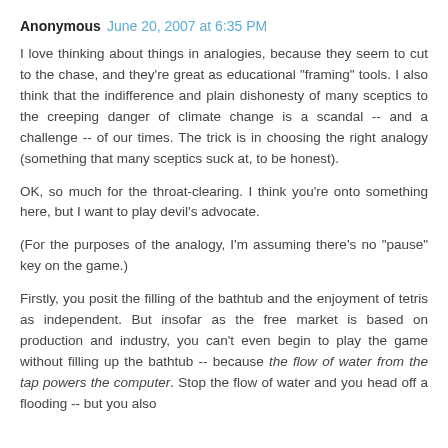Anonymous June 20, 2007 at 6:35 PM
I love thinking about things in analogies, because they seem to cut to the chase, and they're great as educational "framing" tools. I also think that the indifference and plain dishonesty of many sceptics to the creeping danger of climate change is a scandal -- and a challenge -- of our times. The trick is in choosing the right analogy (something that many sceptics suck at, to be honest).
OK, so much for the throat-clearing. I think you're onto something here, but I want to play devil's advocate.
(For the purposes of the analogy, I'm assuming there's no "pause" key on the game.)
Firstly, you posit the filling of the bathtub and the enjoyment of tetris as independent. But insofar as the free market is based on production and industry, you can't even begin to play the game without filling up the bathtub -- because the flow of water from the tap powers the computer. Stop the flow of water and you head off a flooding -- but you also stop the game. Which begs the question: is it worse to wet the carpet, or to stop the game?